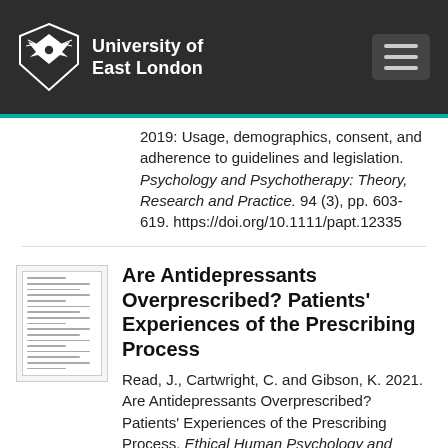University of East London
2019: Usage, demographics, consent, and adherence to guidelines and legislation. Psychology and Psychotherapy: Theory, Research and Practice. 94 (3), pp. 603-619. https://doi.org/10.1111/papt.12335
[Figure (other): Thumbnail image of an academic paper]
Are Antidepressants Overprescribed? Patients’ Experiences of the Prescribing Process
Read, J., Cartwright, C. and Gibson, K. 2021. Are Antidepressants Overprescribed? Patients’ Experiences of the Prescribing Process. Ethical Human Psychology and Psychiatry. 22 (2), pp. 83-97. https://doi.org/1